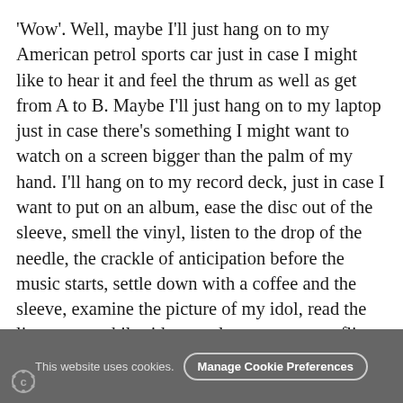'Wow'. Well, maybe I'll just hang on to my American petrol sports car just in case I might like to hear it and feel the thrum as well as get from A to B. Maybe I'll just hang on to my laptop just in case there's something I might want to watch on a screen bigger than the palm of my hand. I'll hang on to my record deck, just in case I want to put on an album, ease the disc out of the sleeve, smell the vinyl, listen to the drop of the needle, the crackle of anticipation before the music starts, settle down with a coffee and the sleeve, examine the picture of my idol, read the liner notes while side one plays out, get up, flip the record over, drop the needle again and wait for the inevitable more adventurous mysteries of side two. Naah. Surely this is on the way out?
This website uses cookies. Manage Cookie Preferences